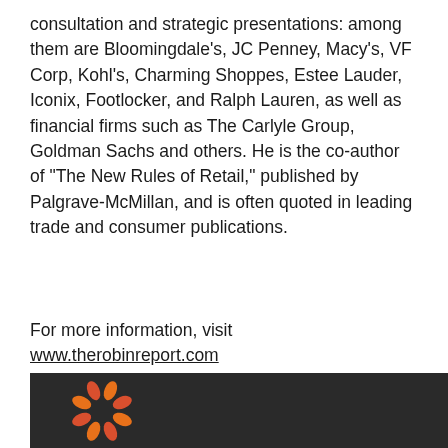consultation and strategic presentations: among them are Bloomingdale's, JC Penney, Macy's, VF Corp, Kohl's, Charming Shoppes, Estee Lauder, Iconix, Footlocker, and Ralph Lauren, as well as financial firms such as The Carlyle Group, Goldman Sachs and others. He is the co-author of "The New Rules of Retail," published by Palgrave-McMillan, and is often quoted in leading trade and consumer publications.
For more information, visit www.therobinreport.com
[Figure (logo): Robin Report logo — a circular flower/pinwheel shape made of orange and red petal segments on a dark background]